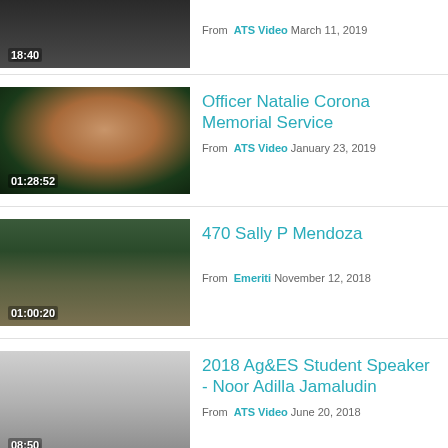[Figure (screenshot): Video thumbnail with duration 18:40, dark background with plant silhouette]
From ATS Video March 11, 2019
[Figure (screenshot): Video thumbnail showing Officer Natalie Corona in uniform, smiling, duration 01:28:52]
Officer Natalie Corona Memorial Service
From ATS Video January 23, 2019
[Figure (screenshot): Video thumbnail showing campus outdoor scene with sculpture, duration 01:00:20]
470 Sally P Mendoza
From Emeriti November 12, 2018
[Figure (screenshot): Video thumbnail gray gradient, duration 08:50]
2018 Ag&ES Student Speaker - Noor Adilla Jamaludin
From ATS Video June 20, 2018